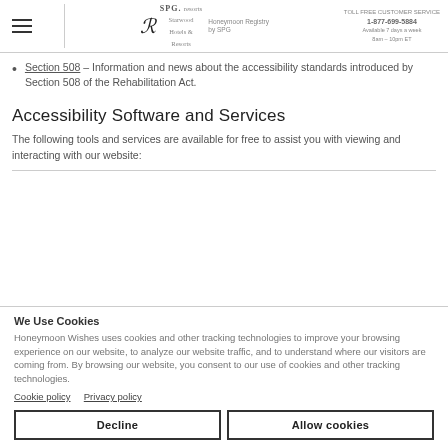SPG Resorts | Starwood Hotels & Resorts | TOLL FREE CUSTOMER SERVICE 1-877-699-5884
Section 508 – Information and news about the accessibility standards introduced by Section 508 of the Rehabilitation Act.
Accessibility Software and Services
The following tools and services are available for free to assist you with viewing and interacting with our website:
We Use Cookies
Honeymoon Wishes uses cookies and other tracking technologies to improve your browsing experience on our website, to analyze our website traffic, and to understand where our visitors are coming from. By browsing our website, you consent to our use of cookies and other tracking technologies.
Cookie policy   Privacy policy
[Decline] [Allow cookies]